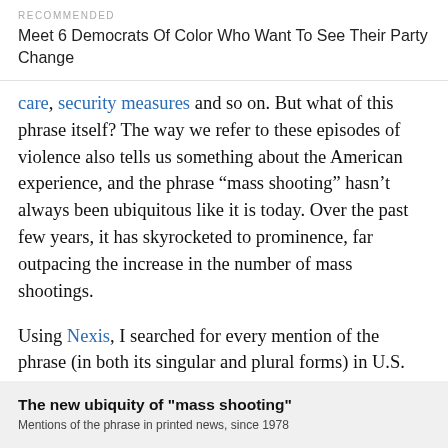RECOMMENDED
Meet 6 Democrats Of Color Who Want To See Their Party Change
care, security measures and so on. But what of this phrase itself? The way we refer to these episodes of violence also tells us something about the American experience, and the phrase “mass shooting” hasn’t always been ubiquitous like it is today. Over the past few years, it has skyrocketed to prominence, far outpacing the increase in the number of mass shootings.
Using Nexis, I searched for every mention of the phrase (in both its singular and plural forms) in U.S. newspapers and on newswires since 1978, and here is what came back:
The new ubiquity of "mass shooting"
Mentions of the phrase in printed news, since 1978